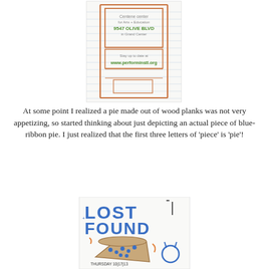[Figure (illustration): Hand-drawn sketch of a building or sign for 'Centene Center for Arts + Education, 3547 Olive Blvd in Grand Center'. Below shows 'Stay up to date at www.performinstl.org'. Drawn in orange/brown crayon on white lined paper.]
At some point I realized a pie made out of wood planks was not very appetizing, so started thinking about just depicting an actual piece of blue-ribbon pie. I just realized that the first three letters of 'piece' is 'pie'!
[Figure (illustration): Hand-drawn sketch of a 'Lost + Found' poster/flyer. Large blue block letters spell 'LOST + FOUND'. Below is a drawing of a slice of pie with blueberries, and to the right a blue ribbon/award. At the bottom it reads 'THURSDAY 10|17|13'. Drawn in blue and orange crayon on white paper.]